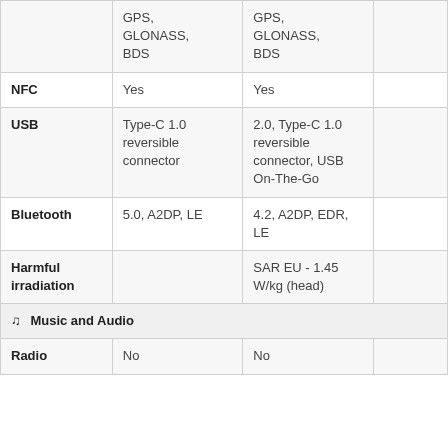| Feature | Device 1 | Device 2 |  |
| --- | --- | --- | --- |
|  | GPS, GLONASS, BDS | GPS, GLONASS, BDS |  |
| NFC | Yes | Yes |  |
| USB | Type-C 1.0 reversible connector | 2.0, Type-C 1.0 reversible connector, USB On-The-Go |  |
| Bluetooth | 5.0, A2DP, LE | 4.2, A2DP, EDR, LE |  |
| Harmful irradiation |  | SAR EU - 1.45 W/kg (head) |  |
| 🎵 Music and Audio |  |  |  |
| Radio | No | No |  |